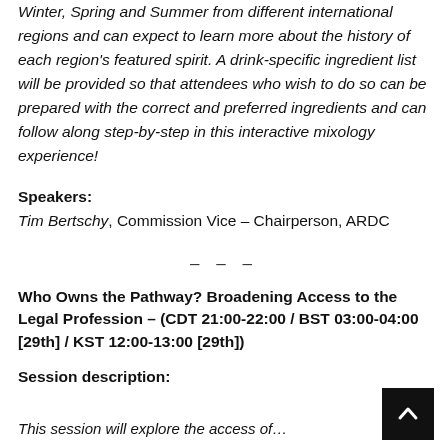Winter, Spring and Summer from different international regions and can expect to learn more about the history of each region's featured spirit. A drink-specific ingredient list will be provided so that attendees who wish to do so can be prepared with the correct and preferred ingredients and can follow along step-by-step in this interactive mixology experience!
Speakers:
Tim Bertschy, Commission Vice – Chairperson, ARDC
– – –
Who Owns the Pathway? Broadening Access to the Legal Profession – (CDT 21:00-22:00 / BST 03:00-04:00 [29th] / KST 12:00-13:00 [29th])
Session description:
This session will explore the access of…